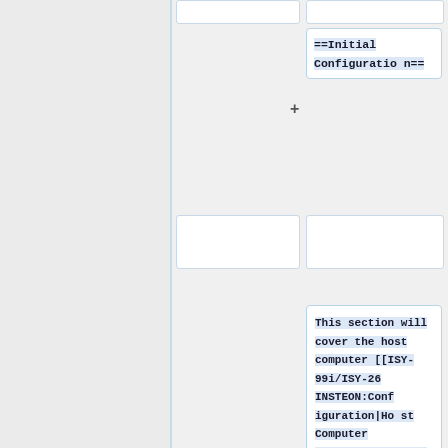==Initial Configuration==
This section will cover the host computer [[ISY-99i/ISY-26 INSTEON:Configuration|Host Computer Configuration]], provide you some instructions